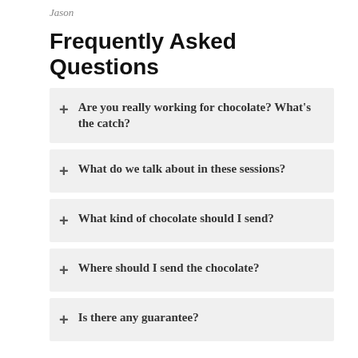Jason
Frequently Asked Questions
+ Are you really working for chocolate? What's the catch?
+ What do we talk about in these sessions?
+ What kind of chocolate should I send?
+ Where should I send the chocolate?
+ Is there any guarantee?